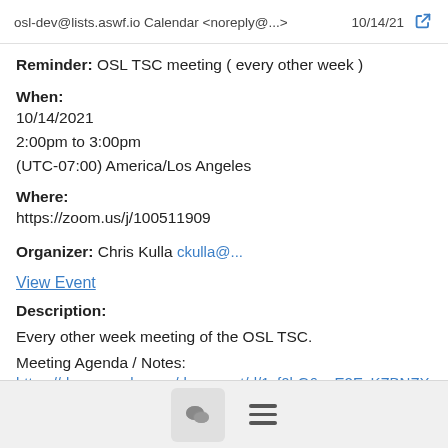osl-dev@lists.aswf.io Calendar <noreply@...>   10/14/21
Reminder: OSL TSC meeting ( every other week )
When:
10/14/2021
2:00pm to 3:00pm
(UTC-07:00) America/Los Angeles
Where:
https://zoom.us/j/100511909
Organizer: Chris Kulla ckulla@...
View Event
Description:
Every other week meeting of the OSL TSC.
Meeting Agenda / Notes:
https://docs.google.com/document/d/1yf0bG6eoE2EvKZBNZX3n